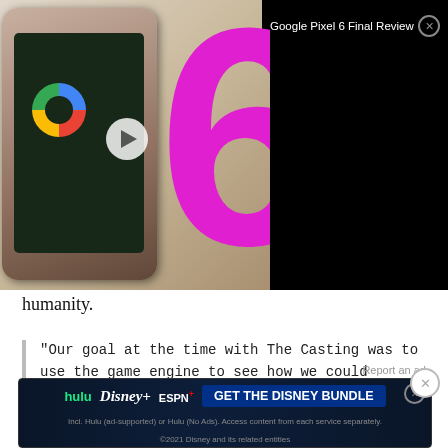[Figure (screenshot): Video ad overlay showing Google Pixel 6 Final Review with phone thumbnail, large magenta number 6, and black title bar with close button]
humanity.
"Our goal at the time with The Casting was to use the game engine to see how we could convey different emotions," Cage tells us prior to the GDC talk where he's unveiling a slice of what Quantic Dream has been up to since 2010. "We wanted to see what it would take in terms of the technology but also with the acting, and working with the actor on-stage to have this performance coming across in the game
Report an ad
[Figure (screenshot): Disney Bundle advertisement showing Hulu, Disney+, ESPN+ logos and GET THE DISNEY BUNDLE button with fine print about ad-supported access]